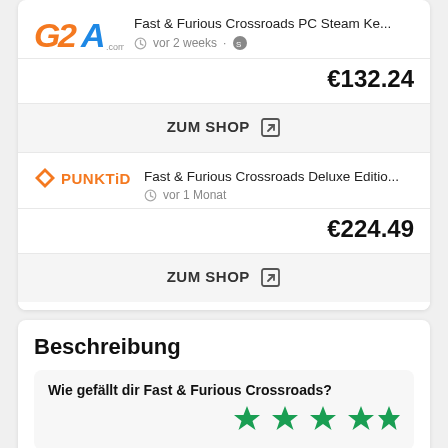[Figure (logo): G2A.com logo in orange and blue]
Fast & Furious Crossroads PC Steam Ke...
vor 2 weeks
€132.24
ZUM SHOP ↗
[Figure (logo): PUNKTiD logo in orange with diamond icon]
Fast & Furious Crossroads Deluxe Editio...
vor 1 Monat
€224.49
ZUM SHOP ↗
Beschreibung
Wie gefällt dir Fast & Furious Crossroads?
[Figure (other): 4 green filled stars rating]